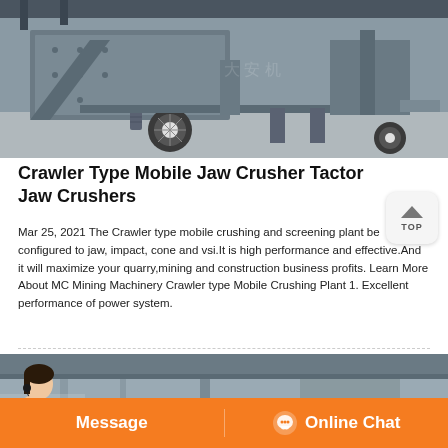[Figure (photo): Photo of a crawler type mobile jaw crusher machine in a factory/workshop setting, showing a large grey industrial crushing machine on wheels with spring suspension and structural steel framework. Chinese watermark text overlay visible.]
Crawler Type Mobile Jaw Crusher Tactor Jaw Crushers
Mar 25, 2021 The Crawler type mobile crushing and screening plant be configured to jaw, impact, cone and vsi.It is high performance and effective.And it will maximize your quarry,mining and construction business profits. Learn More About MC Mining Machinery Crawler type Mobile Crushing Plant 1. Excellent performance of power system.
[Figure (photo): Partial photo of what appears to be an industrial facility or machinery interior, with a woman customer service representative visible in the lower left corner holding a headset microphone.]
Message    Online Chat